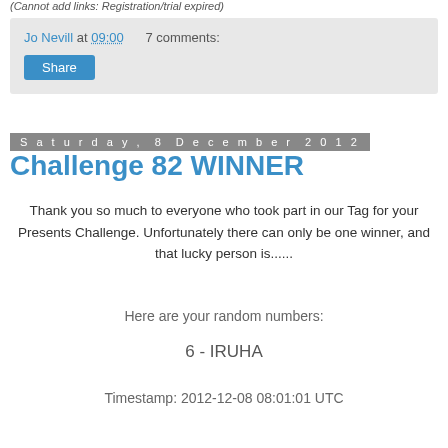(Cannot add links: Registration/trial expired)
Jo Nevill at 09:00    7 comments:
Share
Saturday, 8 December 2012
Challenge 82 WINNER
Thank you so much to everyone who took part in our Tag for your Presents Challenge. Unfortunately there can only be one winner, and that lucky person is......
Here are your random numbers:
6 - IRUHA
Timestamp: 2012-12-08 08:01:01 UTC